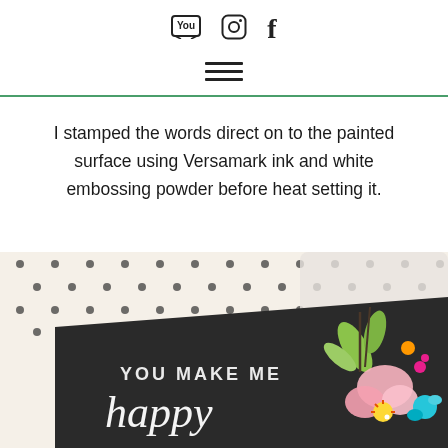YouTube | Instagram | Facebook icons and hamburger menu
I stamped the words direct on to the painted surface using Versamark ink and white embossing powder before heat setting it.
[Figure (photo): Close-up photo of a handmade greeting card on a polka-dot background. The card has a dark chalkboard surface with white embossed text reading 'YOU MAKE ME happy' and colorful paper flowers (pink, teal, magenta) with yellow centers and green leaves arranged in the corner.]